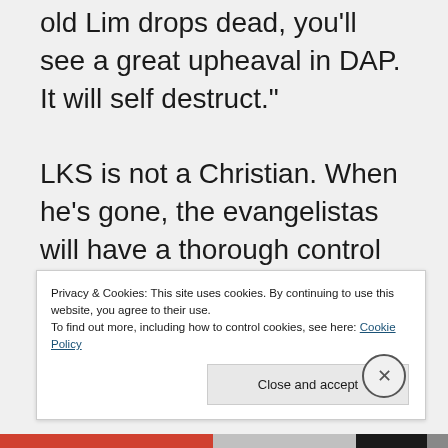old Lim drops dead, you'll see a great upheaval in DAP. It will self destruct."

LKS is not a Christian. When he's gone, the evangelistas will have a thorough control of the party. And don't forget the
Privacy & Cookies: This site uses cookies. By continuing to use this website, you agree to their use.
To find out more, including how to control cookies, see here: Cookie Policy
Close and accept